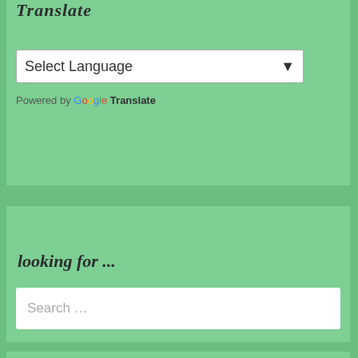Translate
[Figure (screenshot): Select Language dropdown widget]
Powered by Google Translate
looking for ...
[Figure (screenshot): Search ... input box]
no comment?